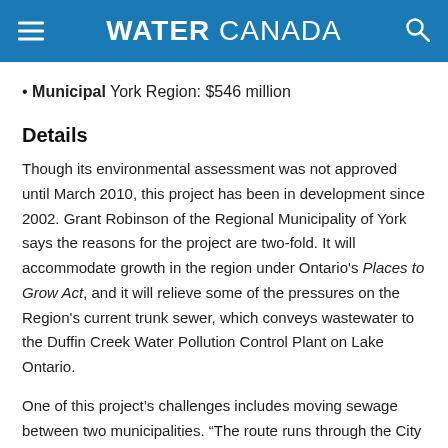WATER CANADA
Municipal York Region: $546 million
Details
Though its environmental assessment was not approved until March 2010, this project has been in development since 2002. Grant Robinson of the Regional Municipality of York says the reasons for the project are two-fold. It will accommodate growth in the region under Ontario's Places to Grow Act, and it will relieve some of the pressures on the Region's current trunk sewer, which conveys wastewater to the Duffin Creek Water Pollution Control Plant on Lake Ontario.
One of this project's challenges includes moving sewage between two municipalities. "The route runs through the City of Markham and the City of Pickering [in Durham Region],"